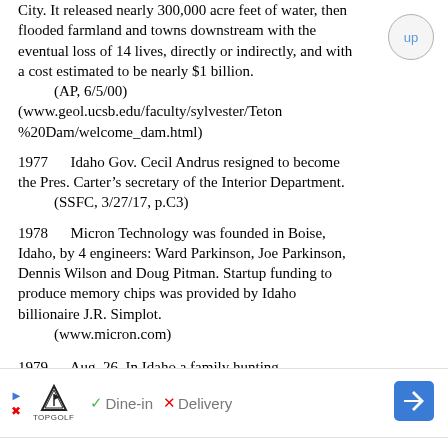City. It released nearly 300,000 acre feet of water, then flooded farmland and towns downstream with the eventual loss of 14 lives, directly or indirectly, and with a cost estimated to be nearly $1 billion.
    (AP, 6/5/00)
(www.geol.ucsb.edu/faculty/sylvester/Teton%20Dam/welcome_dam.html)
1977    Idaho Gov. Cecil Andrus resigned to become the Pres. Carter’s secretary of the Interior Department.
    (SSFC, 3/27/17, p.C3)
1978    Micron Technology was founded in Boise, Idaho, by 4 engineers: Ward Parkinson, Joe Parkinson, Dennis Wilson and Doug Pitman. Startup funding to produce memory chips was provided by Idaho billionaire J.R. Simplot.
    (www.micron.com)
1979    Aug. 26. In Idaho a family hunting
[Figure (other): Advertisement banner for Topgolf showing logo, Dine-in with checkmark, Delivery with X, and navigation arrow icon]